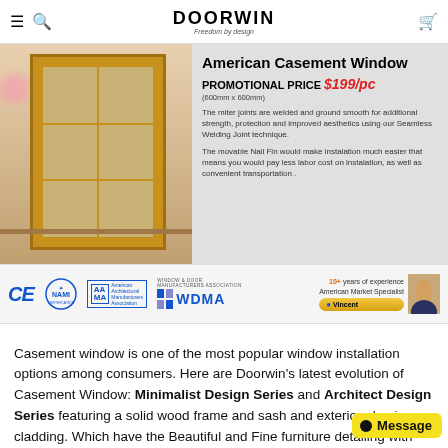DOORWIN — Freedom by design
[Figure (photo): American Casement Window product banner showing wooden casement window with product details: Promotional Price $199/pc (600mm x 600mm), description of miter joints welded and ground smooth, and movable Nail Fin feature.]
[Figure (logo): Certification logos bar: CE mark, NAMI, AAMA (American Architectural Manufacturers Association), WDMA (Window & Door Manufacturers Association), 10+ years of experience American Market Specialist Vincent]
Casement window is one of the most popular window installation options among consumers. Here are Doorwin's latest evolution of Casement Window: Minimalist Design Series and Architect Design Series featuring a solid wood frame and sash and exterior aluminum cladding. Which have the Beautiful and Fine furniture detailing with the most authentic look. Meanwhile with exterior aluminum cladding alleviating all concerns with wood.